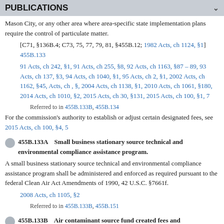PUBLICATIONS
Mason City, or any other area where area-specific state implementation plans require the control of particulate matter.
[C71, §136B.4; C73, 75, 77, 79, 81, §455B.12; 1982 Acts, ch 1124, §1] 455B.133
91 Acts, ch 242, §1, 91 Acts, ch 255, §8, 92 Acts, ch 1163, §87 – 89, 93 Acts, ch 137, §3, 94 Acts, ch 1040, §1, 95 Acts, ch 2, §1, 2002 Acts, ch 1162, §45, Acts, ch , §, 2004 Acts, ch 1138, §1, 2010 Acts, ch 1061, §180, 2014 Acts, ch 1010, §2, 2015 Acts, ch 30, §131, 2015 Acts, ch 100, §1, 7
Referred to in 455B.133B, 455B.134
For the commission's authority to establish or adjust certain designated fees, see 2015 Acts, ch 100, §4, 5
455B.133A  Small business stationary source technical and environmental compliance assistance program.
A small business stationary source technical and environmental compliance assistance program shall be administered and enforced as required pursuant to the federal Clean Air Act Amendments of 1990, 42 U.S.C. §7661f.
2008 Acts, ch 1105, §2
Referred to in 455B.133B, 455B.151
455B.133B  Air contaminant source fund created fees and appropriations.